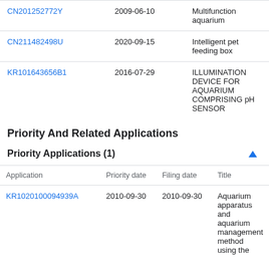|  | Date | Title |
| --- | --- | --- |
| CN201252772Y | 2009-06-10 | Multifunction aquarium |
| CN211482498U | 2020-09-15 | Intelligent pet feeding box |
| KR101643656B1 | 2016-07-29 | ILLUMINATION DEVICE FOR AQUARIUM COMPRISING pH SENSOR |
Priority And Related Applications
Priority Applications (1)
| Application | Priority date | Filing date | Title |
| --- | --- | --- | --- |
| KR1020100094939A | 2010-09-30 | 2010-09-30 | Aquarium apparatus and aquarium management method using the |